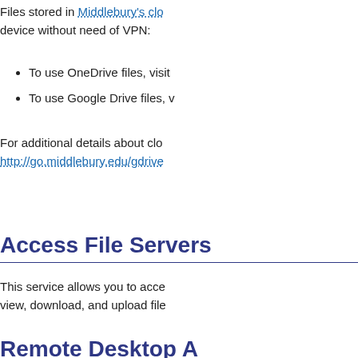Files stored in Middlebury's clo device without need of VPN:
To use OneDrive files, visit
To use Google Drive files, v
For additional details about clo http://go.middlebury.edu/gdrive
Access File Servers
This service allows you to acce view, download, and upload file
Remote Desktop A